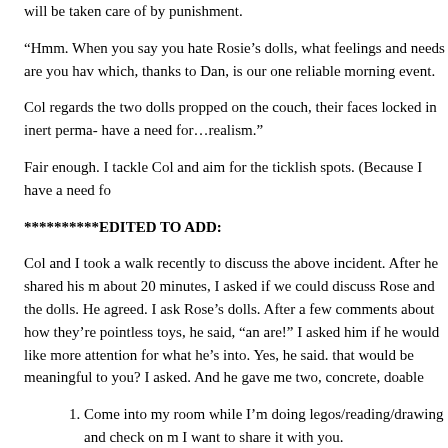will be taken care of by punishment.
“Hmm. When you say you hate Rosie’s dolls, what feelings and needs are you hav which, thanks to Dan, is our one reliable morning event.
Col regards the two dolls propped on the couch, their faces locked in inert perma- have a need for…realism.”
Fair enough. I tackle Col and aim for the ticklish spots. (Because I have a need fo
**********EDITED TO ADD:
Col and I took a walk recently to discuss the above incident. After he shared his m about 20 minutes, I asked if we could discuss Rose and the dolls. He agreed. I ask Rose’s dolls. After a few comments about how they’re pointless toys, he said, “an are!” I asked him if he would like more attention for what he’s into. Yes, he said. that would be meaningful to you? I asked. And he gave me two, concrete, doable
Come into my room while I’m doing legos/reading/drawing and check on m I want to share it with you.
Come into my room while I’m doing legos/reading/drawing and ask me to c play a game.
I’m so happy that he named these two requests because I so want him to feel seen